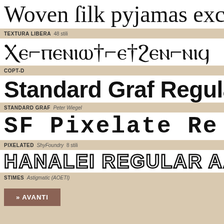[Figure (other): Font preview: Textura Libera blackletter font showing 'Woven silk pyjamas exchanged for blu']
TEXTURA LIBERA  48 stili
[Figure (other): Font preview: Copt-D Coptic script font showing Coptic characters]
COPT-D
[Figure (other): Font preview: Standard Graf Regular blackletter font showing 'Standard Graf Regular']
STANDARD GRAF  Peter Wiegel
[Figure (other): Font preview: Pixelated/SF Pixelate font showing 'SF Pixelate Re']
PIXELATED  ShyFoundry  8 stili
[Figure (other): Font preview: Hanalei Regular outline font showing 'HANALEI REGULAR AABBCC123']
STIMES  Astigmatic (AOETI)
» AVANTI